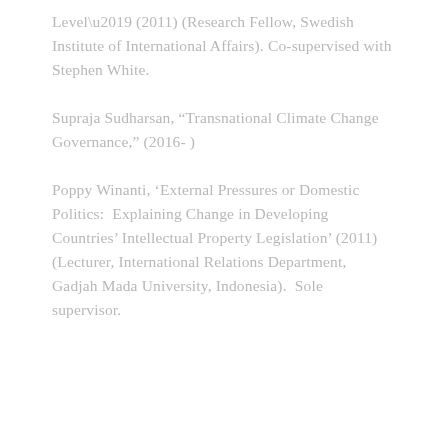Level' (2011) (Research Fellow, Swedish Institute of International Affairs). Co-supervised with Stephen White.
Supraja Sudharsan, “Transnational Climate Change Governance,” (2016- )
Poppy Winanti, ‘External Pressures or Domestic Politics:  Explaining Change in Developing Countries’ Intellectual Property Legislation’ (2011) (Lecturer, International Relations Department, Gadjah Mada University, Indonesia).  Sole supervisor.